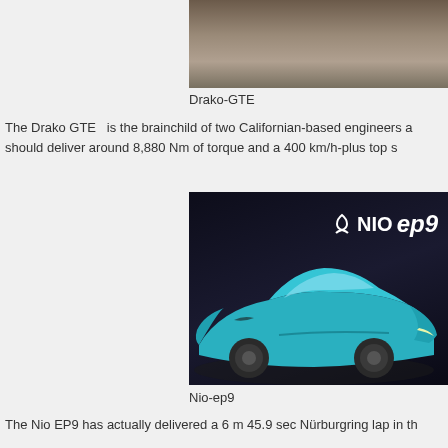[Figure (photo): Top portion of a car image, showing what appears to be the Drako GTE, partially cropped at top of page]
Drako-GTE
The Drako GTE  is the brainchild of two Californian-based engineers a... should deliver around 8,880 Nm of torque and a 400 km/h-plus top s...
[Figure (photo): Photo of the NIO EP9 electric supercar in teal/turquoise color displayed in front of a dark backdrop with NIO EP9 logo]
Nio-ep9
The Nio EP9 has actually delivered a 6 m 45.9 sec Nürburgring lap in th...